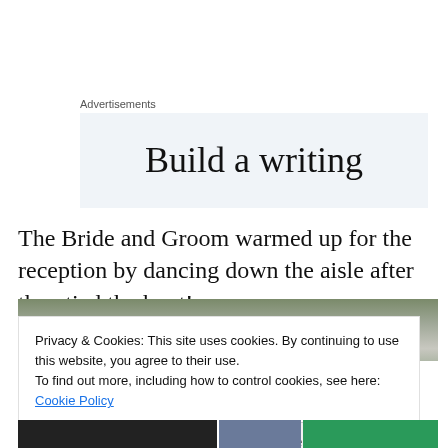Advertisements
[Figure (other): Advertisement banner with large serif text reading 'Build a writing' on a light blue-grey background, partially cropped at the bottom]
The Bride and Groom warmed up for the reception by dancing down the aisle after they tied the knot!
[Figure (photo): Outdoor wedding photo strip showing trees and people, partially visible]
Privacy & Cookies: This site uses cookies. By continuing to use this website, you agree to their use.
To find out more, including how to control cookies, see here: Cookie Policy
Close and accept
[Figure (photo): Bottom row of wedding photos: dark-clothed figures on left, mid-tone photo in center, teal/green bridesmaids dresses on right]